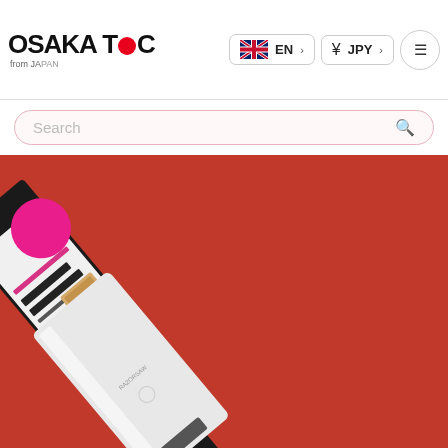OSAKA TOOLS from JAPAN — EN | JPY navigation header
Search
[Figure (photo): Product photo on red background: a Japanese RAZORSAW fine woodworking saw with black handle and wide rectangular blade, shown next to its packaging (black and white/pink retail card with Japanese text and barcode)]